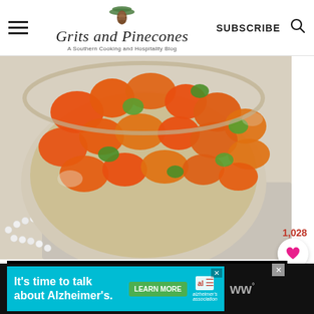[Figure (logo): Grits and Pinecones - A Southern Cooking and Hospitality Blog logo with pinecone and branches]
[Figure (photo): Bowl of glazed carrots with green pepper pieces on a white linen surface with pearl necklace decoration]
1,028
[Figure (infographic): DON'T TEXT AND DRIVE ad banner by NHTSA with red car emoji]
[Figure (infographic): It's time to talk about Alzheimer's. Learn More - Alzheimer's association ad]